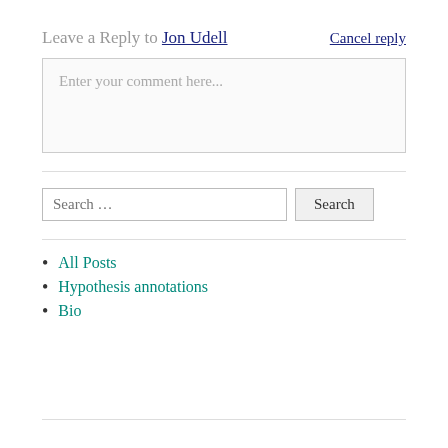Leave a Reply to Jon Udell   Cancel reply
Enter your comment here...
Search …
All Posts
Hypothesis annotations
Bio